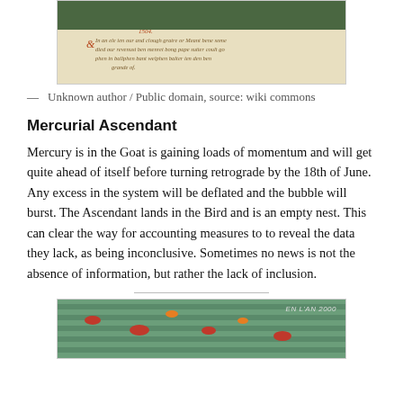[Figure (photo): Old medieval manuscript page showing handwritten text in brown ink on parchment, set against dark green background]
— Unknown author / Public domain, source: wiki commons
Mercurial Ascendant
Mercury is in the Goat is gaining loads of momentum and will get quite ahead of itself before turning retrograde by the 18th of June. Any excess in the system will be deflated and the bubble will burst. The Ascendant lands in the Bird and is an empty nest. This can clear the way for accounting measures to to reveal the data they lack, as being inconclusive. Sometimes no news is not the absence of information, but rather the lack of inclusion.
[Figure (photo): Old illustration or postcard showing fish and sea creatures underwater, with text 'EN L'AN 2000' visible in upper right corner]